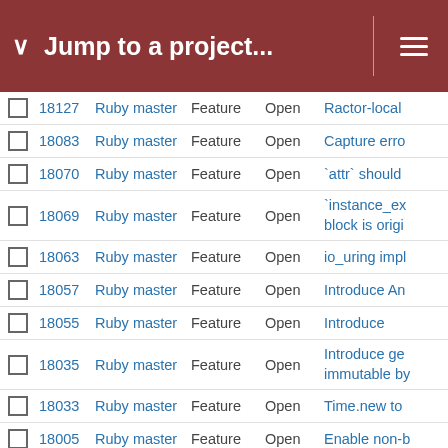Jump to a project...
|  | # | Project | Type | Status | Subject |
| --- | --- | --- | --- | --- | --- |
|  | 18127 | Ruby master | Feature | Open | Ractor-local |
|  | 18083 | Ruby master | Feature | Open | Capture erro |
|  | 18070 | Ruby master | Feature | Open | `attr` should |
|  | 18069 | Ruby master | Feature | Open | `instance_ex block is origi |
|  | 18063 | Ruby master | Feature | Open | io_uring impl |
|  | 18057 | Ruby master | Feature | Open | Introduce An |
|  | 18055 | Ruby master | Feature | Open | Introduce |
|  | 18035 | Ruby master | Feature | Open | Introduce ge immutable by |
|  | 18033 | Ruby master | Feature | Open | Time.new to |
|  | 18005 | Ruby master | Feature | Open | Enable non-b |
|  | 18004 | Ruby master | Feature | Open | Add Async to |
|  | 17994 | Ruby master | Feature | Open | Clarify `IO.re `File.read` m |
|  | 17950 | Ruby master | Feature | Open | Unable to pa key |
|  | 17944 | Ruby master | Feature | Open | Remove Soc Socket.getho |
|  |  | Ruby master | Feature | Open | Add a `initiali shortcut synt |